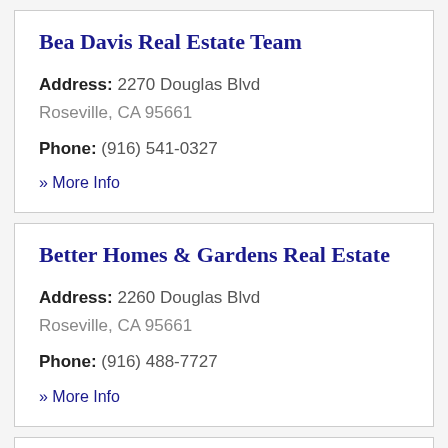Bea Davis Real Estate Team
Address: 2270 Douglas Blvd
Roseville, CA 95661
Phone: (916) 541-0327
» More Info
Better Homes & Gardens Real Estate
Address: 2260 Douglas Blvd
Roseville, CA 95661
Phone: (916) 488-7727
» More Info
Better Homes Realty